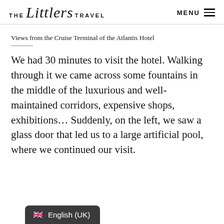THE Littlers TRAVEL   MENU
Views from the Cruise Terminal of the Atlantis Hotel
We had 30 minutes to visit the hotel. Walking through it we came across some fountains in the middle of the luxurious and well-maintained corridors, expensive shops, exhibitions… Suddenly, on the left, we saw a glass door that led us to a large artificial pool, where we continued our visit.
🇬🇧 English (UK)